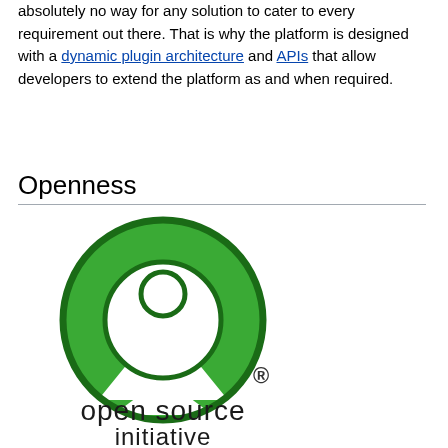absolutely no way for any solution to cater to every requirement out there. That is why the platform is designed with a dynamic plugin architecture and APIs that allow developers to extend the platform as and when required.
Openness
[Figure (logo): Open Source Initiative logo: green open-source keyhole symbol above the text 'open source initiative' in black sans-serif font, with a registered trademark symbol.]